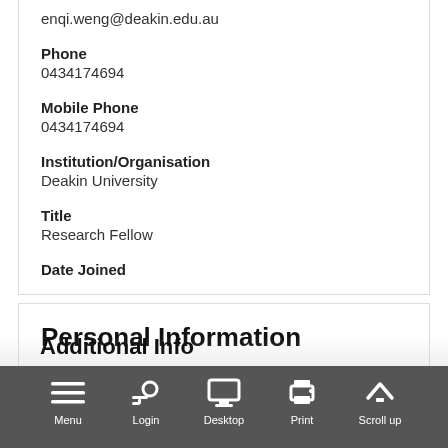enqi.weng@deakin.edu.au
Phone
0434174694
Mobile Phone
0434174694
Institution/Organisation
Deakin University
Title
Research Fellow
Date Joined
Personal Information
Website
https://www.deakin.edu.au/about-deakin/people/enqi-weng
Additional Information
Menu   Login   Desktop   Print   Scroll up